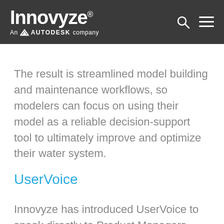Innovyze® An AUTODESK company
The result is streamlined model building and maintenance workflows, so modelers can focus on using their model as a reliable decision-support tool to ultimately improve and optimize their water system.
UserVoice
Innovyze has introduced UserVoice to speak directly to Product Managers. We